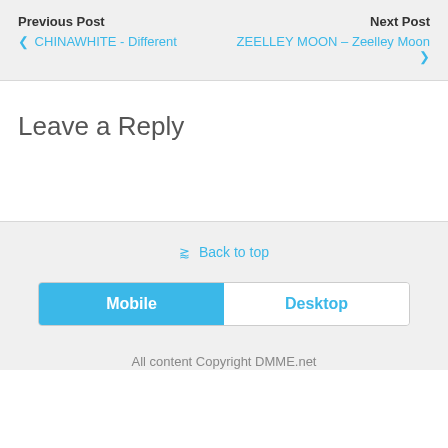Previous Post
❮ CHINAWHITE - Different
Next Post
ZEELLEY MOON – Zeelley Moon ❯
Leave a Reply
⌃ Back to top
Mobile
Desktop
All content Copyright DMME.net